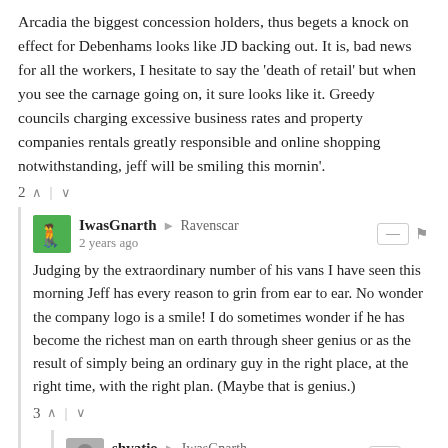Arcadia the biggest concession holders, thus begets a knock on effect for Debenhams looks like JD backing out. It is, bad news for all the workers, I hesitate to say the 'death of retail' but when you see the carnage going on, it sure looks like it. Greedy councils charging excessive business rates and property companies rentals greatly responsible and online shopping notwithstanding, jeff will be smiling this mornin'.
2 ^ | v
IwasGnarth → Ravenscar
2 years ago
Judging by the extraordinary number of his vans I have seen this morning Jeff has every reason to grin from ear to ear. No wonder the company logo is a smile! I do sometimes wonder if he has become the richest man on earth through sheer genius or as the result of simply being an ordinary guy in the right place, at the right time, with the right plan. (Maybe that is genius.)
3 ^ | v
shvatio → IwasGnarth
2 years ago
Its going very nicely for Jeff, did he go to Kavos by any